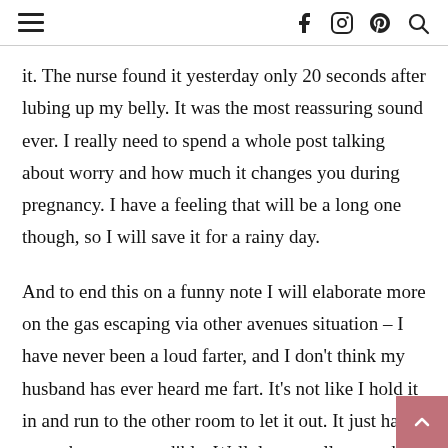≡  f  instagram  pinterest  search
it. The nurse found it yesterday only 20 seconds after lubing up my belly. It was the most reassuring sound ever. I really need to spend a whole post talking about worry and how much it changes you during pregnancy. I have a feeling that will be a long one though, so I will save it for a rainy day.
And to end this on a funny note I will elaborate more on the gas escaping via other avenues situation – I have never been a loud farter, and I don't think my husband has ever heard me fart. It's not like I hold it in and run to the other room to let it out. It just has never been very audible. Well, let me tell you – that's changing. So now after nearly 7 years of never farting in front of my